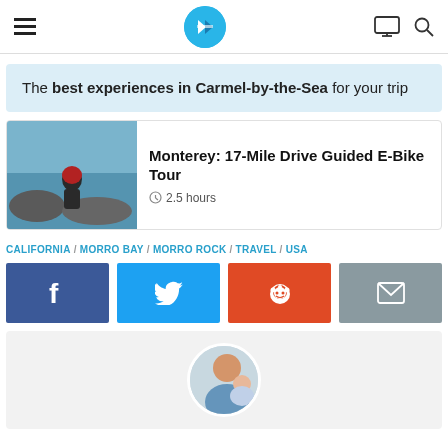Navigation header with hamburger menu, logo, monitor icon, and search icon
The best experiences in Carmel-by-the-Sea for your trip
Monterey: 17-Mile Drive Guided E-Bike Tour
2.5 hours
CALIFORNIA / MORRO BAY / MORRO ROCK / TRAVEL / USA
[Figure (screenshot): Social sharing buttons: Facebook, Twitter, Reddit, Email]
[Figure (photo): Author profile photo - circular avatar of a person holding a child]